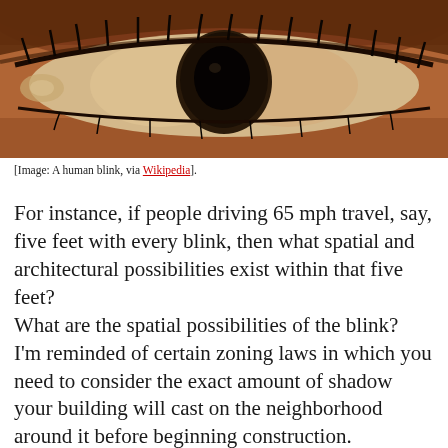[Figure (photo): Close-up macro photograph of a human eye in mid-blink, showing the eyelid partially closed over the iris and pupil, with visible skin texture and eyelashes]
[Image: A human blink, via Wikipedia].
For instance, if people driving 65 mph travel, say, five feet with every blink, then what spatial and architectural possibilities exist within that five feet?
What are the spatial possibilities of the blink?
I'm reminded of certain zoning laws in which you need to consider the exact amount of shadow your building will cast on the neighborhood around it before beginning construction.
But what about zoning for blinks? Can you zone a